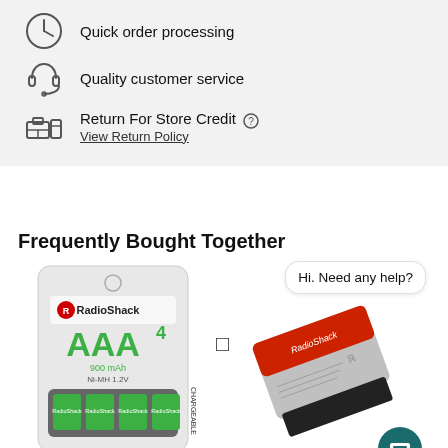Quick order processing
Quality customer service
Return For Store Credit ? View Return Policy
Frequently Bought Together
[Figure (photo): RadioShack AAA 4-pack 900mAh NiMH rechargeable batteries product packaging]
[Figure (photo): RadioShack battery charger/device partially visible]
Hi. Need any help?